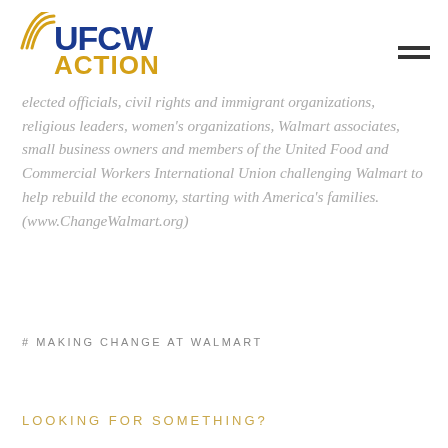[Figure (logo): UFCW Action logo with globe/wave symbol in gold and blue text]
elected officials, civil rights and immigrant organizations, religious leaders, women's organizations, Walmart associates, small business owners and members of the United Food and Commercial Workers International Union challenging Walmart to help rebuild the economy, starting with America's families. (www.ChangeWalmart.org)
# MAKING CHANGE AT WALMART
LOOKING FOR SOMETHING?